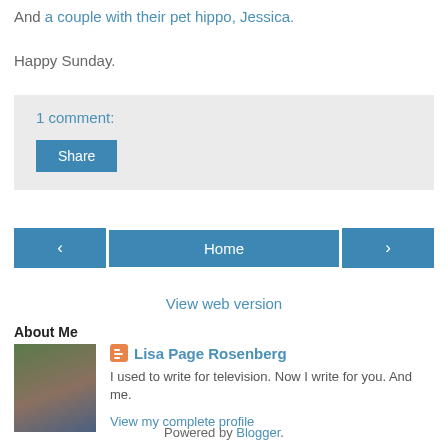And a couple with their pet hippo, Jessica.
Happy Sunday.
1 comment:
Share
< Home >
View web version
About Me
[Figure (photo): Profile photo of Lisa Page Rosenberg, a woman with long brown hair against a green leafy background]
Lisa Page Rosenberg
I used to write for television. Now I write for you. And me.
View my complete profile
Powered by Blogger.